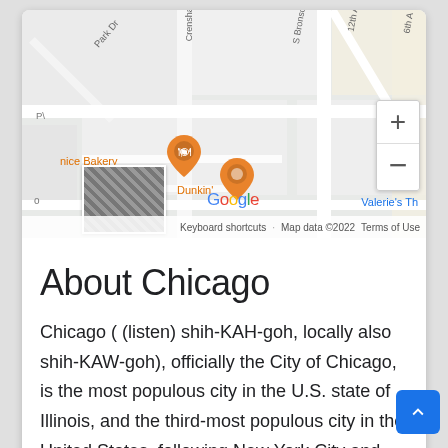[Figure (map): Google Maps screenshot showing street-level map with Dunkin' and a bakery marked with orange pins, zoom controls, Google logo, and map attribution bar. Street labels include Crenshaw, S Bronson A, 12th A, 6th A, Park Dr.]
About Chicago
Chicago ( (listen) shih-KAH-goh, locally also shih-KAW-goh), officially the City of Chicago, is the most populous city in the U.S. state of Illinois, and the third-most populous city in the United States, following New York City and Los Angeles. With a population of 2,746,388 in the